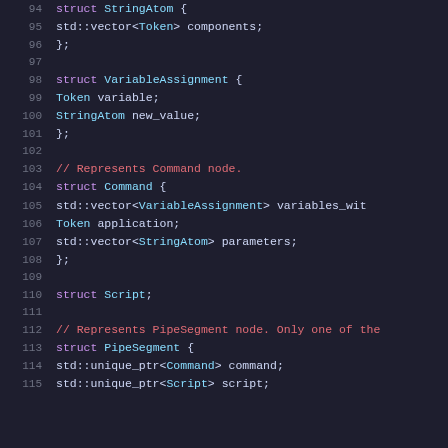94  struct StringAtom {
95    std::vector<Token> components;
96  };
97
98  struct VariableAssignment {
99    Token variable;
100   StringAtom new_value;
101 };
102
103 // Represents Command node.
104 struct Command {
105   std::vector<VariableAssignment> variables_wit
106   Token application;
107   std::vector<StringAtom> parameters;
108 };
109
110 struct Script;
111
112 // Represents PipeSegment node. Only one of the
113 struct PipeSegment {
114   std::unique_ptr<Command> command;
115   std::unique_ptr<Script> script;